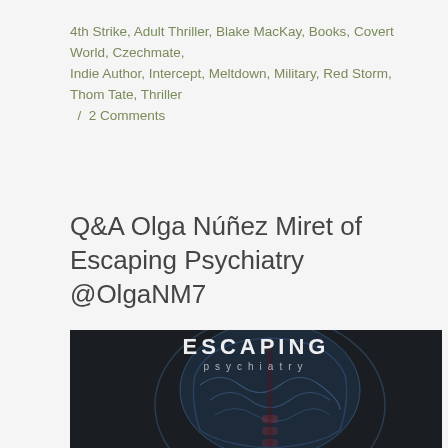4th Strike, Adult Thriller, Blake MacKay, Books, Covert World, Czechmate, Indie Author, Intercept, Meltdown, Military, Red Storm, Thom Tate, Thriller / 2 Comments
Q&A Olga Núñez Miret of Escaping Psychiatry @OlgaNM7
[Figure (photo): Book cover of 'Escaping Psychiatry' showing the title text in large white letters at the top and an X-ray style image of a human head/brain in blue tones on a dark background]